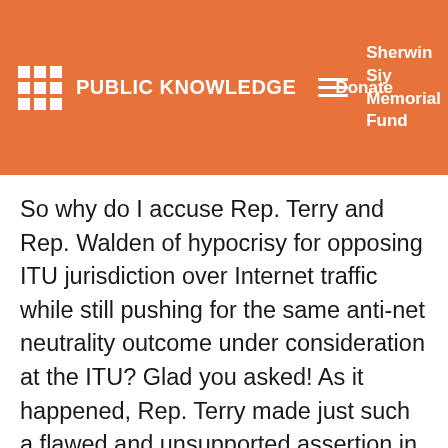PUBLIC KNOWLEDGE | Sherwin Siy Memorial Fund | Donate
So why do I accuse Rep. Terry and Rep. Walden of hypocrisy for opposing ITU jurisdiction over Internet traffic while still pushing for the same anti-net neutrality outcome under consideration at the ITU? Glad you asked! As it happened, Rep. Terry made just such a flawed and unsupported assertion in the opposte direction. That is to say, Rep. Terry asserted that “there is a certain level of hypocrisy” for organizations that supported the FCC’s net neutrality rules